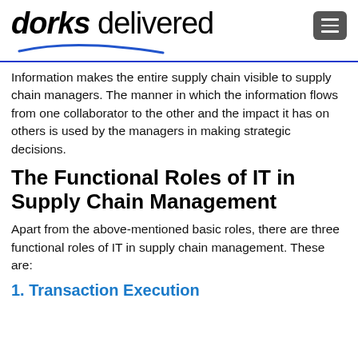dorks delivered
Information makes the entire supply chain visible to supply chain managers. The manner in which the information flows from one collaborator to the other and the impact it has on others is used by the managers in making strategic decisions.
The Functional Roles of IT in Supply Chain Management
Apart from the above-mentioned basic roles, there are three functional roles of IT in supply chain management. These are:
1. Transaction Execution